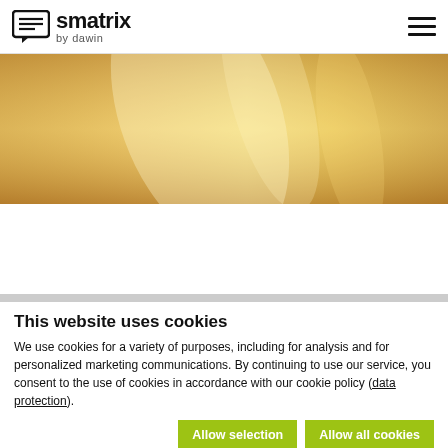smatrix by dawin
[Figure (photo): Warm golden-toned blurred background photo, possibly fabric or soft light]
This website uses cookies
We use cookies for a variety of purposes, including for analysis and for personalized marketing communications. By continuing to use our service, you consent to the use of cookies in accordance with our cookie policy (data protection).
Allow selection | Allow all cookies | Necessary | Preferences | Statistics | Marketing | Show details